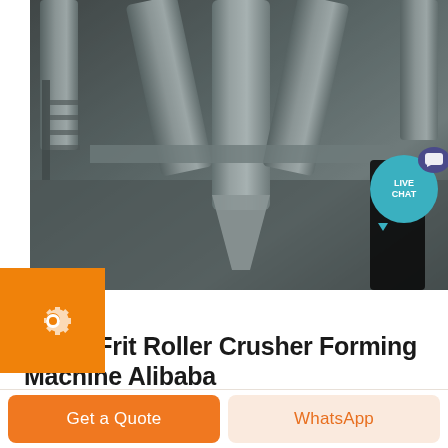[Figure (photo): Industrial machinery — large grey cylindrical pipes/hoppers in a factory setting, with a dark-clothed worker visible on the right side. Live Chat bubble overlay in top-right corner.]
Glass Frit Roller Crusher Forming Machine Alibaba
Glass Frit Roller Crusher Forming Machine US 6 500 8 000 Set New frit forming machine 50kg 50000kg Source from Zibo Longtai Cave Industry Technology Co Ltd ...
Get a Quote
WhatsApp